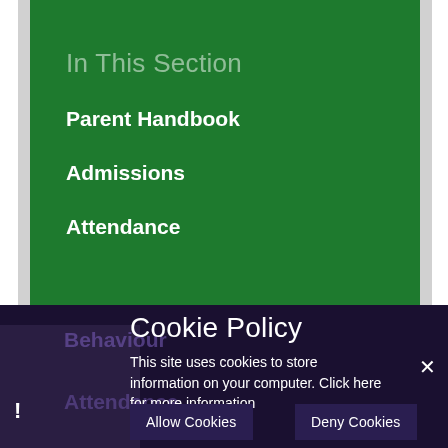In This Section
Parent Handbook
Admissions
Attendance
Behaviour
Cookie Policy
This site uses cookies to store information on your computer. Click here for more information
Allow Cookies
Deny Cookies